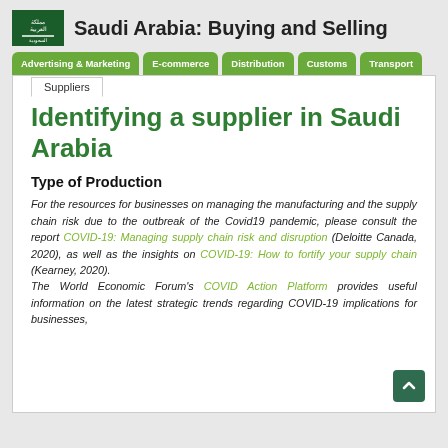Saudi Arabia: Buying and Selling
Advertising & Marketing | E-commerce | Distribution | Customs | Transport
Suppliers
Identifying a supplier in Saudi Arabia
Type of Production
For the resources for businesses on managing the manufacturing and the supply chain risk due to the outbreak of the Covid19 pandemic, please consult the report COVID-19: Managing supply chain risk and disruption (Deloitte Canada, 2020), as well as the insights on COVID-19: How to fortify your supply chain (Kearney, 2020).
The World Economic Forum's COVID Action Platform provides useful information on the latest strategic trends regarding COVID-19 implications for businesses,